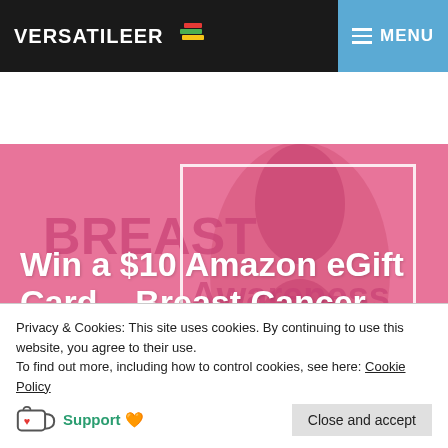VERSATILEER  MENU
[Figure (photo): Pink breast cancer awareness background with ribbon and 'Breast Awareness Cancer' text watermark. A white-bordered image box is visible on the right side.]
Win a $10 Amazon eGift Card – Breast Cancer Awareness Giveaway Hop – Ends 10-30
Privacy & Cookies: This site uses cookies. By continuing to use this website, you agree to their use.
To find out more, including how to control cookies, see here: Cookie Policy
Support 🧡   Close and accept